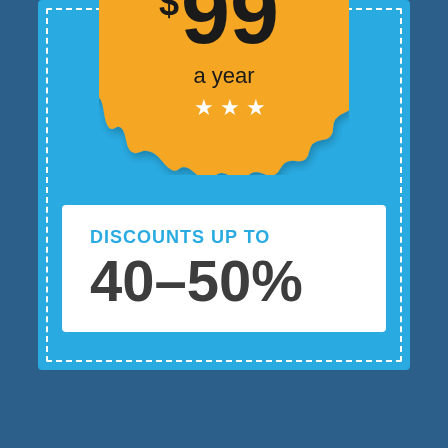[Figure (infographic): Orange scalloped/stamp-shaped badge with '$99 a year' text and three white stars]
DISCOUNTS UP TO
40-50%